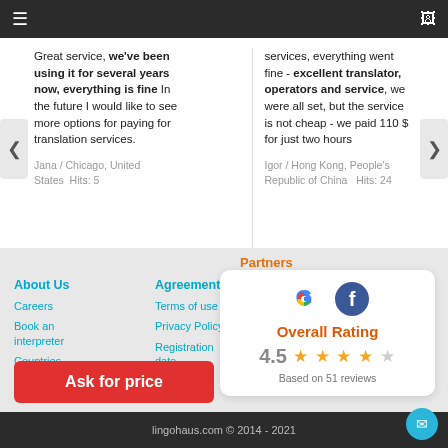≡  [monitor icon]
Great service, we've been using it for several years now, everything is fine In the future I would like to see more options for paying for translation services.
Jana / Chicago, United States   Hits: 5
services, everything went fine - excellent translator, operators and service, we were all set, but the service is not cheap - we paid 110 $ for just two hours
Igor / Hong Kong, People's Republic of China   Hits: 24
Partners
About Us
Careers
Book an interpreter
Countries
Agreement
Terms of use
Privacy Policy
Registration data
[Figure (other): Partners card showing Google and Facebook logos, Overall Rating 4.5 stars out of 5, Based on 51 reviews]
Ask for price
lingohaus.com © 2014 - 2021